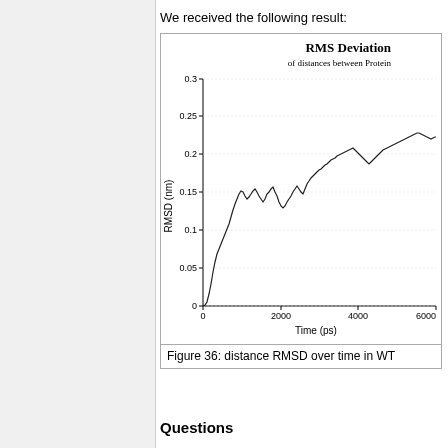We received the following result:
[Figure (continuous-plot): Line chart showing RMSD (nm) vs Time (ps). The curve starts near 0, rises steeply to ~0.15 nm by ~500 ps, fluctuates around 0.15-0.20 nm from ~500-2000 ps, then rises again reaching ~0.20-0.23 nm range from 2000-6000+ ps.]
Figure 36: distance RMSD over time in WT
Questions